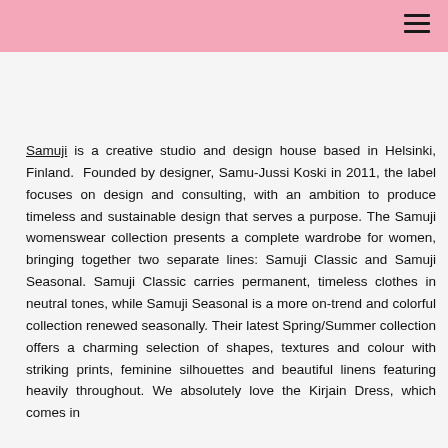Samuji is a creative studio and design house based in Helsinki, Finland. Founded by designer, Samu-Jussi Koski in 2011, the label focuses on design and consulting, with an ambition to produce timeless and sustainable design that serves a purpose. The Samuji womenswear collection presents a complete wardrobe for women, bringing together two separate lines: Samuji Classic and Samuji Seasonal. Samuji Classic carries permanent, timeless clothes in neutral tones, while Samuji Seasonal is a more on-trend and colorful collection renewed seasonally. Their latest Spring/Summer collection offers a charming selection of shapes, textures and colour with striking prints, feminine silhouettes and beautiful linens featuring heavily throughout. We absolutely love the Kirjain Dress, which comes in